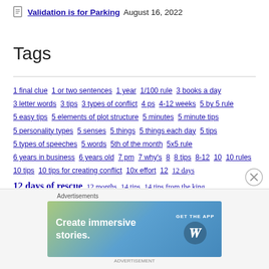Validation is for Parking August 16, 2022
Tags
1 final clue 1 or two sentences 1 year 1/100 rule 3 books a day 3 letter words 3 tips 3 types of conflict 4 ps 4-12 weeks 5 by 5 rule 5 easy tips 5 elements of plot structure 5 minutes 5 minute tips 5 personality types 5 senses 5 things 5 things each day 5 tips 5 types of speeches 5 words 5th of the month 5x5 rule 6 years in business 6 years old 7 pm 7 why's 8 8 tips 8-12 10 10 rules 10 tips 10 tips for creating conflict 10x effort 12 12 days 12 days of rescue 12 months 14 tips 14 tips from the king 15 amazing ways 16 20 days of giveaways 20 rounds 22 22 rules 30 day rule 30 days 30 days of writing 30 day writing challenge 50% off 55 days 60 60 books 60 books in a year 114 world series 171 years old 500 word challenge 500 words or less 500 word
[Figure (infographic): WordPress advertisement banner: Create immersive stories. GET THE APP with WordPress logo]